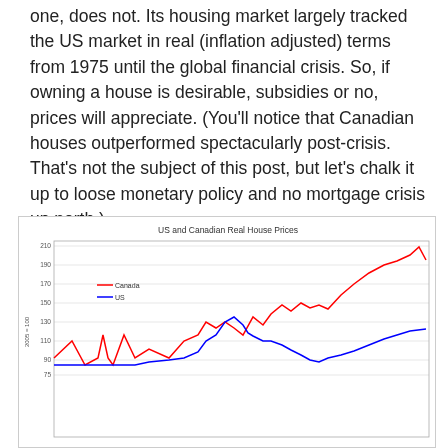one, does not. Its housing market largely tracked the US market in real (inflation adjusted) terms from 1975 until the global financial crisis. So, if owning a house is desirable, subsidies or no, prices will appreciate. (You'll notice that Canadian houses outperformed spectacularly post-crisis. That's not the subject of this post, but let's chalk it up to loose monetary policy and no mortgage crisis up north.)
[Figure (continuous-plot): Line chart showing US (blue) and Canada (red) real house prices indexed to 2005=100, from approximately 1975 to 2015. Both lines tracked similarly until the global financial crisis. Post-crisis Canada rose sharply to above 190 while US fell and recovered to around 100.]